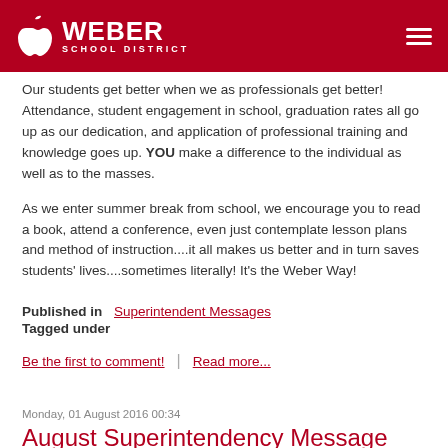Weber School District
Our students get better when we as professionals get better! Attendance, student engagement in school, graduation rates all go up as our dedication, and application of professional training and knowledge goes up. YOU make a difference to the individual as well as to the masses.
As we enter summer break from school, we encourage you to read a book, attend a conference, even just contemplate lesson plans and method of instruction....it all makes us better and in turn saves students' lives....sometimes literally! It's the Weber Way!
Published in  Superintendent Messages
Tagged under
Be the first to comment!  |  Read more...
Monday, 01 August 2016 00:34
August Superintendency Message